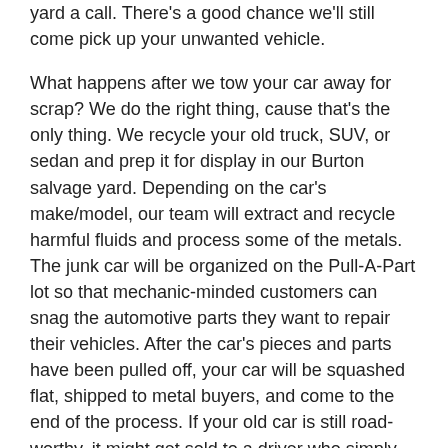yard a call. There's a good chance we'll still come pick up your unwanted vehicle.
What happens after we tow your car away for scrap? We do the right thing, cause that's the only thing. We recycle your old truck, SUV, or sedan and prep it for display in our Burton salvage yard. Depending on the car's make/model, our team will extract and recycle harmful fluids and process some of the metals. The junk car will be organized on the Pull-A-Part lot so that mechanic-minded customers can snag the automotive parts they want to repair their vehicles. After the car's pieces and parts have been pulled off, your car will be squashed flat, shipped to metal buyers, and come to the end of the process. If your old car is still road-worthy, it might get sold to a driver who simply needs a car that works.
Can't wait to junk your clunker for some cash? Sell it for cash to our junkyard in Ohio. Call now for a free quote, free tow pick-up, and quick cash for any scrap car! Banged up, battered, or bumper-dinged — your junk car can become a stack of cash today.